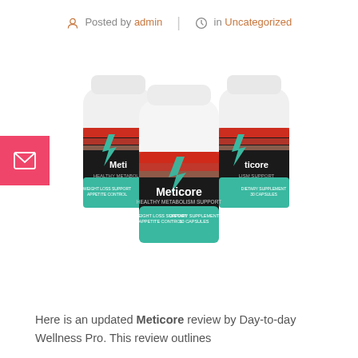Posted by admin | in Uncategorized
[Figure (photo): Three white supplement bottles labeled 'Meticore – Healthy Metabolism Support', with red, orange, and teal label design featuring a lightning bolt. Two bottles in back, one in front center.]
Here is an updated Meticore review by Day-to-day Wellness Pro. This review outlines